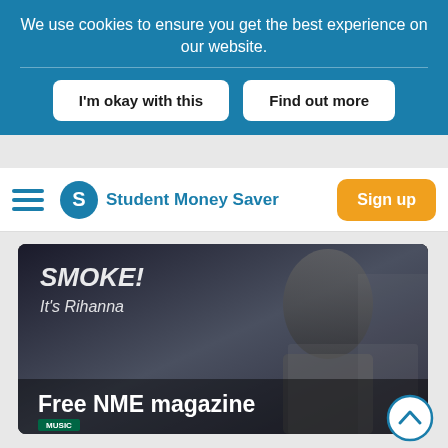We use cookies to ensure you get the best experience on our website.
I'm okay with this
Find out more
Student Money Saver
Sign up
[Figure (photo): Magazine cover featuring a person with text 'SMOKE! It's Rihanna' overlaid, with 'Free NME magazine' caption at the bottom]
[Figure (photo): Promotional card with text 'bespoke offers' in the top right corner]